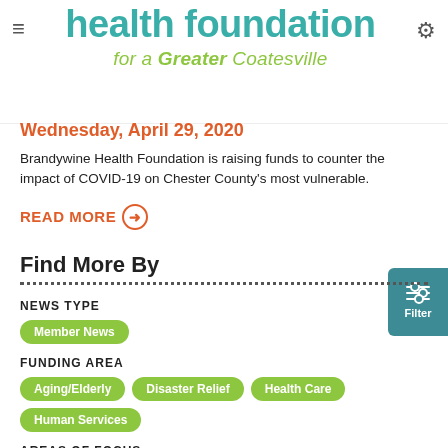health foundation for a Greater Coatesville
Wednesday, April 29, 2020
Brandywine Health Foundation is raising funds to counter the impact of COVID-19 on Chester County's most vulnerable.
READ MORE →
Find More By
NEWS TYPE
Member News
FUNDING AREA
Aging/Elderly
Disaster Relief
Health Care
Human Services
AREAS OF FOCUS
COVID-19